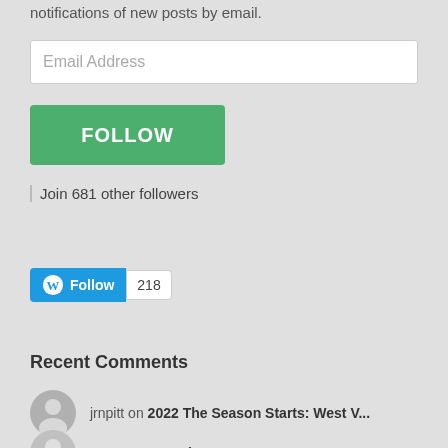notifications of new posts by email.
[Figure (other): Email Address input field]
[Figure (other): Green FOLLOW button]
Join 681 other followers
[Figure (other): WordPress Follow button with count 218]
Recent Comments
jrnpitt on 2022 The Season Starts: West V...
Greg on 2022 The Season Starts: West V...